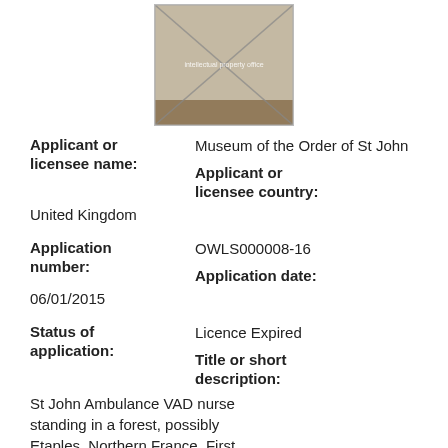[Figure (photo): Photograph of a St John Ambulance VAD nurse standing in a forest, with an X placeholder overlay and small text 'intellectual property office']
Applicant or licensee name:
Museum of the Order of St John
Applicant or licensee country:
United Kingdom
Application number:
OWLS000008-16
Application date:
06/01/2015
Status of application:
Licence Expired
Title or short description:
St John Ambulance VAD nurse standing in a forest, possibly Etaples, Northern France, First World War